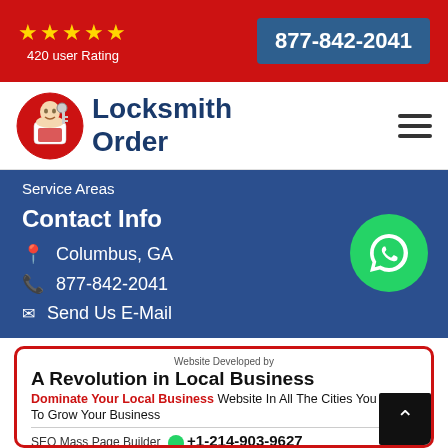★★★★★ 420 user Rating  |  877-842-2041
[Figure (logo): Locksmith Order logo with locksmith character icon and text 'Locksmith Order' in dark blue]
Service Areas
Contact Info
Columbus, GA
877-842-2041
Send Us E-Mail
Website Developed by
A Revolution in Local Business
Dominate Your Local Business Website In All The Cities You Want To Grow Your Business
SEO Mass Page Builder  +1-214-903-9627
By SEO Page Creator  ewebcraft
^